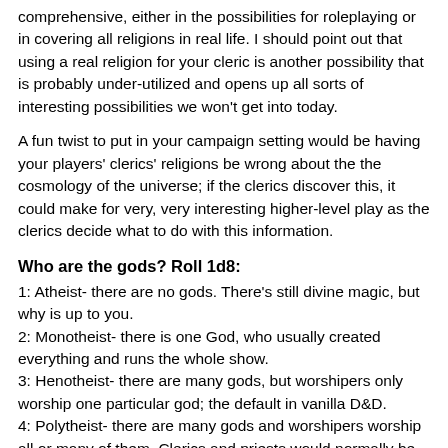comprehensive, either in the possibilities for roleplaying or in covering all religions in real life. I should point out that using a real religion for your cleric is another possibility that is probably under-utilized and opens up all sorts of interesting possibilities we won't get into today.
A fun twist to put in your campaign setting would be having your players' clerics' religions be wrong about the the cosmology of the universe; if the clerics discover this, it could make for very, very interesting higher-level play as the clerics decide what to do with this information.
Who are the gods? Roll 1d8:
1: Atheist- there are no gods. There's still divine magic, but why is up to you.
2: Monotheist- there is one God, who usually created everything and runs the whole show.
3: Henotheist- there are many gods, but worshipers only worship one particular god; the default in vanilla D&D.
4: Polytheist- there are many gods and worshipers worship all or many of them. Clerics and priests would normally be dedicated to just one god, though that wouldn't stop them